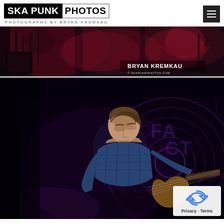[Figure (logo): Ska Punk Photos logo with text 'SKA PUNK PHOTOS' and subtitle 'PHOTOGRAPHY BY BRYAN KREMKAU']
[Figure (photo): Concert photography banner showing musicians performing on stage with dark red/pink lighting, watermark 'BRYAN KREMKAU' and '© SKAPUNKPHOTOS.COM']
[Figure (photo): Concert photo of a male guitarist/bassist in a blue plaid shirt playing guitar on dark stage with purple circular logo graphic in background reading 'ING FACT']